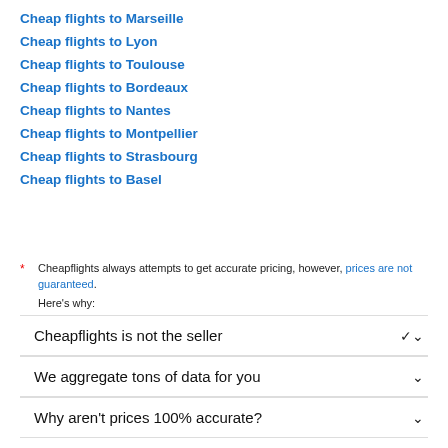Cheap flights to Marseille
Cheap flights to Lyon
Cheap flights to Toulouse
Cheap flights to Bordeaux
Cheap flights to Nantes
Cheap flights to Montpellier
Cheap flights to Strasbourg
Cheap flights to Basel
* Cheapflights always attempts to get accurate pricing, however, prices are not guaranteed. Here's why:
Cheapflights is not the seller
We aggregate tons of data for you
Why aren't prices 100% accurate?